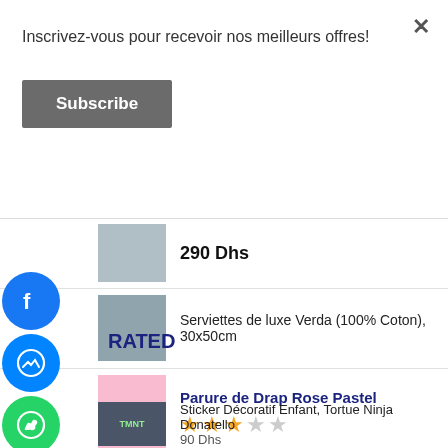Inscrivez-vous pour recevoir nos meilleurs offres!
Subscribe
290 Dhs
Serviettes de luxe Verda (100% Coton), 30x50cm
RATED
Parure de Drap Rose Pastel
★★★☆☆
Sticker Décoratif Enfant, Tortue Ninja Donatello
90 Dhs